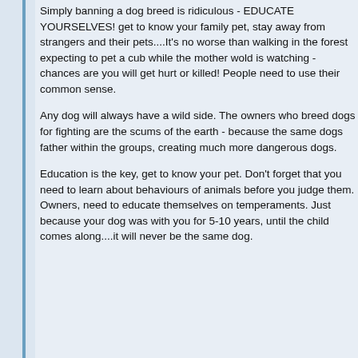Simply banning a dog breed is ridiculous - EDUCATE YOURSELVES! get to know your family pet, stay away from strangers and their pets....It's no worse than walking in the forest expecting to pet a cub while the mother wold is watching - chances are you will get hurt or killed! People need to use their common sense.
Any dog will always have a wild side. The owners who breed dogs for fighting are the scums of the earth - because the same dogs father within the groups, creating much more dangerous dogs.
Education is the key, get to know your pet. Don't forget that you need to learn about behaviours of animals before you judge them. Owners, need to educate themselves on temperaments. Just because your dog was with you for 5-10 years, until the child comes along....it will never be the same dog.